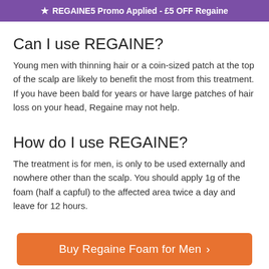★ REGAINE5 Promo Applied - £5 OFF Regaine
Can I use REGAINE?
Young men with thinning hair or a coin-sized patch at the top of the scalp are likely to benefit the most from this treatment. If you have been bald for years or have large patches of hair loss on your head, Regaine may not help.
How do I use REGAINE?
The treatment is for men, is only to be used externally and nowhere other than the scalp. You should apply 1g of the foam (half a capful) to the affected area twice a day and leave for 12 hours.
How effective is REGAINE?
Buy Regaine Foam for Men >